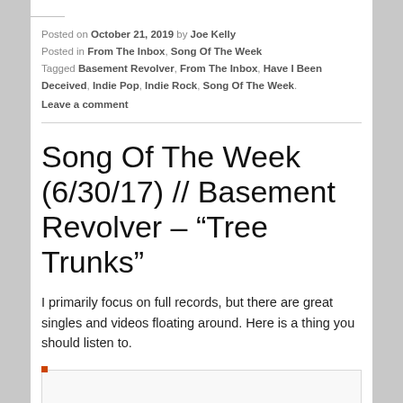Posted on October 21, 2019 by Joe Kelly
Posted in From The Inbox, Song Of The Week
Tagged Basement Revolver, From The Inbox, Have I Been Deceived, Indie Pop, Indie Rock, Song Of The Week.
Leave a comment
Song Of The Week (6/30/17) // Basement Revolver – “Tree Trunks”
I primarily focus on full records, but there are great singles and videos floating around. Here is a thing you should listen to.
[Figure (other): Embedded media player area with orange corner dot indicator]